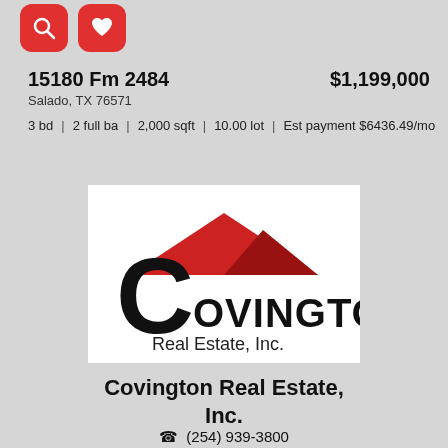[Figure (other): Two red rounded-square icon buttons: a search (magnifying glass) icon and a heart/favorite icon]
15180 Fm 2484
Salado, TX 76571
$1,199,000
3 bd  |  2 full ba  |  2,000 sqft  |  10.00 lot  |  Est payment $6436.49/mo
[Figure (logo): Covington Real Estate, Inc. logo — large black C letterform with red triangular roof/house shape above, company name in black text]
Covington Real Estate, Inc.
(254) 939-3800